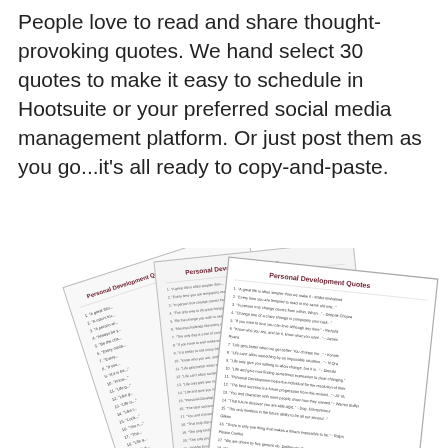People love to read and share thought-provoking quotes. We hand select 30 quotes to make it easy to schedule in Hootsuite or your preferred social media management platform. Or just post them as you go...it's all ready to copy-and-paste.
[Figure (illustration): Three overlapping printed document pages fanned out, each titled 'Personal Development Quotes', showing lists of numbered quotes in small text.]